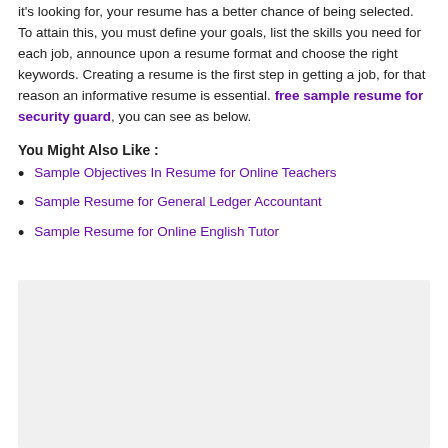it's looking for, your resume has a better chance of being selected. To attain this, you must define your goals, list the skills you need for each job, announce upon a resume format and choose the right keywords. Creating a resume is the first step in getting a job, for that reason an informative resume is essential. free sample resume for security guard, you can see as below.
You Might Also Like :
Sample Objectives In Resume for Online Teachers
Sample Resume for General Ledger Accountant
Sample Resume for Online English Tutor
[Figure (other): Gray placeholder box/advertisement area]